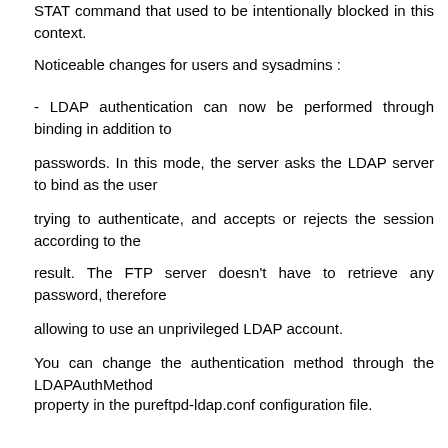STAT command that used to be intentionally blocked in this context.
Noticeable changes for users and sysadmins :
- LDAP authentication can now be performed through binding in addition to
passwords. In this mode, the server asks the LDAP server to bind as the user
trying to authenticate, and accepts or rejects the session according to the
result. The FTP server doesn't have to retrieve any password, therefore
allowing to use an unprivileged LDAP account.
You can change the authentication method through the LDAPAuthMethod
property in the pureftpd-ldap.conf configuration file.
- Atomic uploads now only happen when they would really be needed, or if
-O (--notruncate) has been enabled. Using them remain